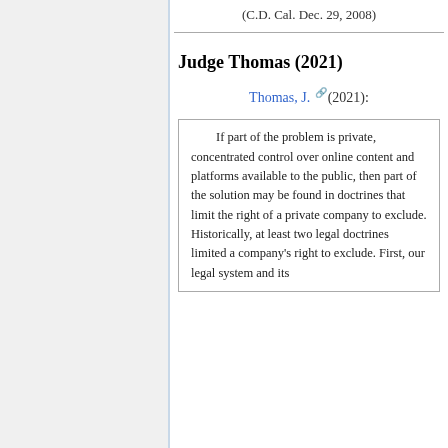(C.D. Cal. Dec. 29, 2008)
Judge Thomas (2021)
Thomas, J. (2021):
If part of the problem is private, concentrated control over online content and platforms available to the public, then part of the solution may be found in doctrines that limit the right of a private company to exclude. Historically, at least two legal doctrines limited a company's right to exclude. First, our legal system and its